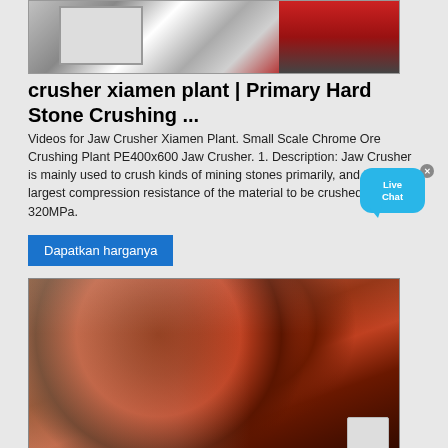[Figure (photo): Industrial crusher machine, top portion visible, metallic gray and red colored heavy machinery]
crusher xiamen plant | Primary Hard Stone Crushing ...
Videos for Jaw Crusher Xiamen Plant. Small Scale Chrome Ore Crushing Plant PE400x600 Jaw Crusher. 1. Description: Jaw Crusher is mainly used to crush kinds of mining stones primarily, and the largest compression resistance of the material to be crushed is 320MPa.
[Figure (other): Live Chat bubble widget with close button]
Dapatkan harganya
[Figure (photo): Red jaw crusher machine outdoors, large flywheel visible, industrial stone crushing equipment on gravel ground]